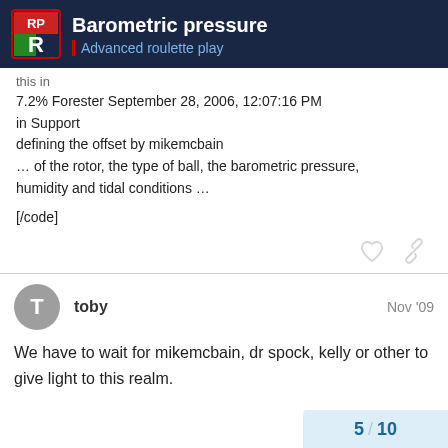Barometric pressure | Advanced roulette play
this in
7.2% Forester September 28, 2006, 12:07:16 PM
in Support
defining the offset by mikemcbain
… of the rotor, the type of ball, the barometric pressure, humidity and tidal conditions …

[/code]
toby Nov '09
We have to wait for mikemcbain, dr spock, kelly or other to give light to this realm.
5 / 10